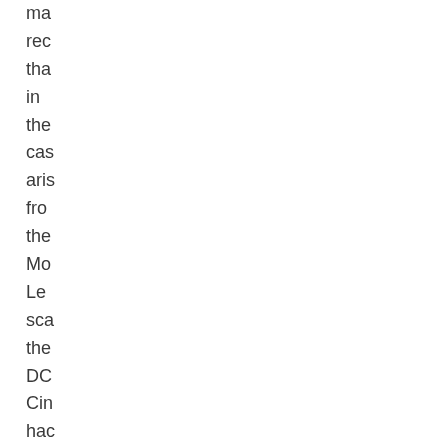ma rec tha in the cas aris fro the Mo Le sca the DC Cin hac reje a pri ass as to De